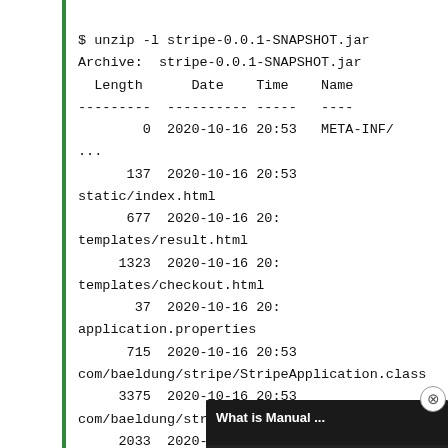$ unzip -l stripe-0.0.1-SNAPSHOT.jar
Archive:  stripe-0.0.1-SNAPSHOT.jar
  Length      Date    Time    Name
---------  ---------- -----   ----
        0  2020-10-16 20:53   META-INF/
...
      137  2020-10-16 20:53
static/index.html
      677  2020-10-16 20:
templates/result.html
     1323  2020-10-16 20:
templates/checkout.html
       37  2020-10-16 20:
application.properties
      715  2020-10-16 20:53
com/baeldung/stripe/StripeApplication.class
     3375  2020-10-16 20:53
com/baeldung/stripe/ChargeRequest.class
     2033  2020-10-16 20:53
com/baeldung/stripe/StripeService.class
     1146  2020-10-16 20:53
[Figure (screenshot): Video overlay showing 'What is Manual ...' with a play button over a dark background image of hands]